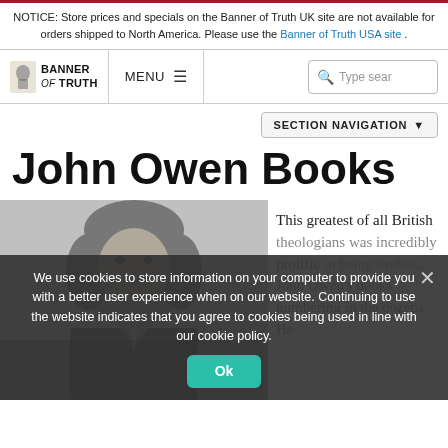NOTICE: Store prices and specials on the Banner of Truth UK site are not available for orders shipped to North America. Please use the Banner of Truth USA site .
[Figure (screenshot): Banner of Truth website navigation bar with logo, MENU, hamburger icon, and search box]
SECTION NAVIGATION
John Owen Books
[Figure (photo): Grayscale portrait photo of John Owen]
This greatest of all British theologians was incredibly prolific in his work. John Owen's books numbering in the dozens. He
We use cookies to store information on your computer to provide you with a better user experience when on our website. Continuing to use the website indicates that you agree to cookies being used in line with our cookie policy.